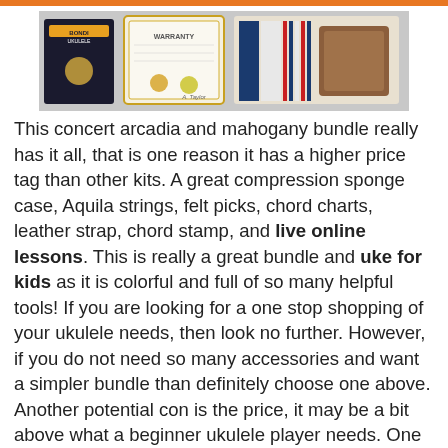[Figure (photo): Product bundle photo showing Bondi Ukulele branded items including a warranty certificate, chord charts/straps, and accessories displayed together]
This concert arcadia and mahogany bundle really has it all, that is one reason it has a higher price tag than other kits. A great compression sponge case, Aquila strings, felt picks, chord charts, leather strap, chord stamp, and live online lessons. This is really a great bundle and uke for kids as it is colorful and full of so many helpful tools! If you are looking for a one stop shopping of your ukulele needs, then look no further. However, if you do not need so many accessories and want a simpler bundle than definitely choose one above. Another potential con is the price, it may be a bit above what a beginner ukulele player needs. One reason the price is so high is all the extras, take them away the ukulele isn't worth that much.